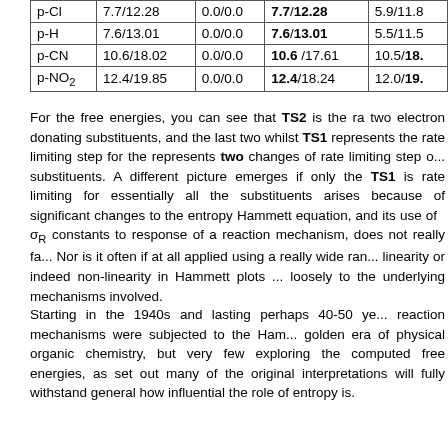| p-Cl | 7.7/12.28 | 0.0/0.0 | 7.7/12.28 | 5.9/11.8... |
| p-H | 7.6/13.01 | 0.0/0.0 | 7.6/13.01 | 5.5/11.5... |
| p-CN | 10.6/18.02 | 0.0/0.0 | 10.6 /17.61 | 10.5/18.... |
| p-NO₂ | 12.4/19.85 | 0.0/0.0 | 12.4/18.24 | 12.0/19.... |
For the free energies, you can see that TS2 is the ra... two electron donating substituents, and the last two whilst TS1 represents the rate limiting step for the represents two changes of rate limiting step o... substituents. A different picture emerges if only the TS1 is rate limiting for essentially all the substituents arises because of significant changes to the entropy ... Hammett equation, and its use of σR constants to... response of a reaction mechanism, does not really fa... Nor is it often if at all applied using a really wide ran... linearity or indeed non-linearity in Hammett plots ... loosely to the underlying mechanisms involved.
Starting in the 1940s and lasting perhaps 40-50 ye... reaction mechanisms were subjected to the Ham... golden era of physical organic chemistry, but very few exploring the computed free energies, as set out many of the original interpretations will fully withstand general how influential the role of entropy is.